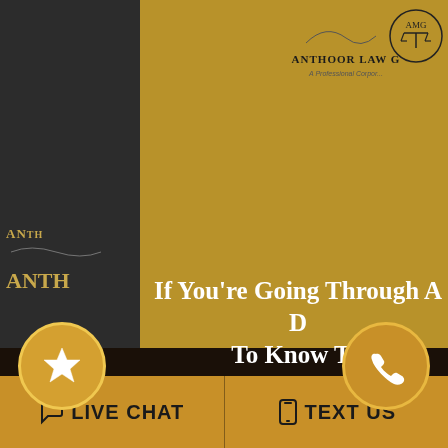[Figure (logo): Anthoor Law Group logo with scales of justice icon and firm name 'Anthoor Law Group, A Professional Corporation']
If You’re Going Through A D… To Know Th…
Download N…
Re…
[Figure (photo): A man in a white shirt sitting at a desk with hands clasped, in an office setting]
LIVE CHAT
TEXT US